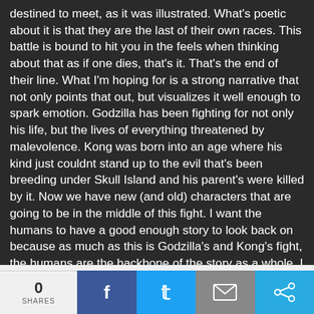destined to meet, as it was illustrated. What's poetic about it is that they are the last of their own races. This battle is bound to hit you in the feels when thinking about that as if one dies, that's it. That's the end of their line. What I'm hoping for is a strong narrative that not only points that out, but visualizes it well enough to spark emotion. Godzilla has been fighting for not only his life, but the lives of everything threatened by malevolence. Kong was born into an age where his kind just couldnt stand up to the evil that's been breeding under Skull Island and his parent's were killed by it. Now we have new (and old) characters that are going to be in the middle of this fight. I want the humans to have a good enough story to look back on because as much as this is Godzilla's and Kong's fight, the humans are the backbone of the story as a whole. I hope Wingard and the writers convey this story well enough.
0 SHARES | Facebook | Twitter | Email | Share